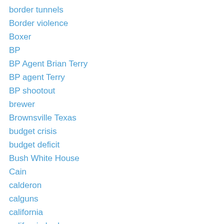border tunnels
Border violence
Boxer
BP
BP Agent Brian Terry
BP agent Terry
BP shootout
brewer
Brownsville Texas
budget crisis
budget deficit
Bush White House
Cain
calderon
calguns
california
california broke
California budget crisis
California budget deficit
California economic woes